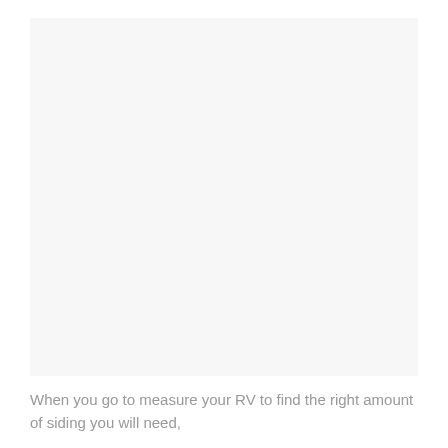[Figure (photo): Large mostly blank/white image area representing an RV or siding-related photo]
When you go to measure your RV to find the right amount of siding you will need,